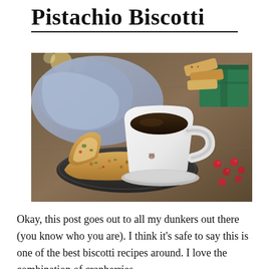Pistachio Biscotti
[Figure (photo): A photograph showing two pieces of biscotti on a dark plate next to a white ceramic mug filled with coffee or tea. A blue napkin is draped in the background, with more biscotti and a green gift box in the upper right. Fresh red cranberries are scattered on a wooden surface to the right.]
Okay, this post goes out to all my dunkers out there (you know who you are).  I think it’s safe to say this is one of the best biscotti recipes around.  I love the combination of cranberries